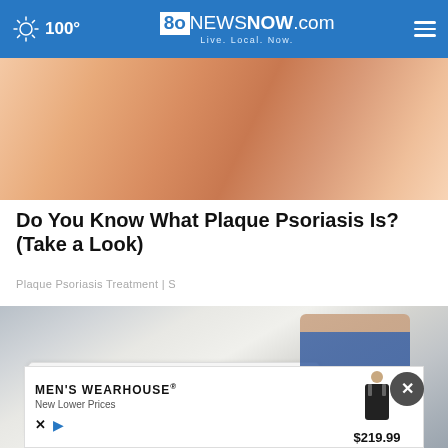100° | 8oNEWSNOW.com Live. Local. Now.
[Figure (photo): Close-up photo of skin showing psoriasis condition, pinkish-tan skin texture]
Do You Know What Plaque Psoriasis Is? (Take a Look)
Plaque Psoriasis Treatment | S
[Figure (photo): Man in blue polo shirt sitting in a white walk-in bathtub in a tiled bathroom, smiling at the camera]
[Figure (photo): Advertisement banner: MEN'S WEARHOUSE New Lower Prices, with suit figure image, price $219.99]